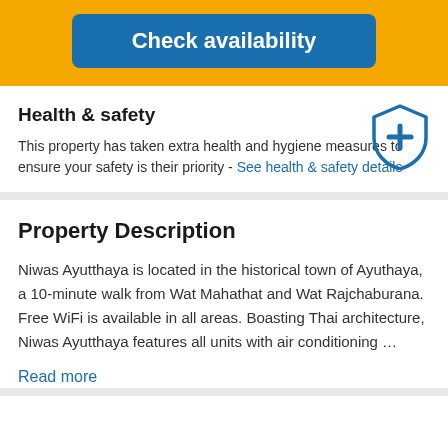Check availability
Health & safety
This property has taken extra health and hygiene measures to ensure your safety is their priority - See health & safety details
Property Description
Niwas Ayutthaya is located in the historical town of Ayuthaya, a 10-minute walk from Wat Mahathat and Wat Rajchaburana. Free WiFi is available in all areas. Boasting Thai architecture, Niwas Ayutthaya features all units with air conditioning …
Read more